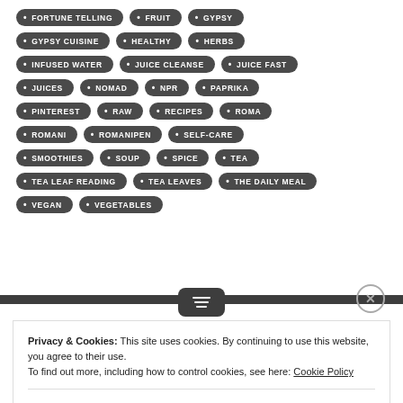FORTUNE TELLING
FRUIT
GYPSY
GYPSY CUISINE
HEALTHY
HERBS
INFUSED WATER
JUICE CLEANSE
JUICE FAST
JUICES
NOMAD
NPR
PAPRIKA
PINTEREST
RAW
RECIPES
ROMA
ROMANI
ROMANIPEN
SELF-CARE
SMOOTHIES
SOUP
SPICE
TEA
TEA LEAF READING
TEA LEAVES
THE DAILY MEAL
VEGAN
VEGETABLES
Privacy & Cookies: This site uses cookies. By continuing to use this website, you agree to their use. To find out more, including how to control cookies, see here: Cookie Policy
Close and accept